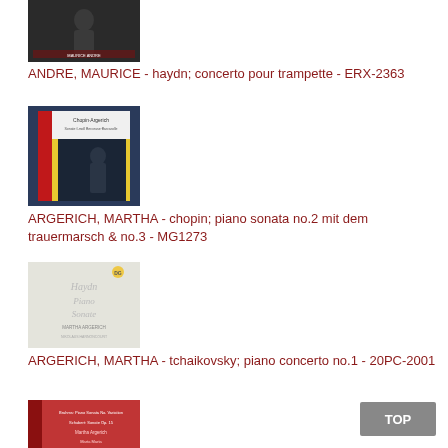[Figure (photo): Album cover for Maurice Andre - Haydn concerto pour trampette, dark background with performer]
ANDRE, MAURICE - haydn; concerto pour trampette - ERX-2363
[Figure (photo): Album cover for Martha Argerich - Chopin piano sonata, yellow Deutsche Grammophon label with red obi strip]
ARGERICH, MARTHA - chopin; piano sonata no.2 mit dem trauermarsch & no.3 - MG1273
[Figure (photo): Album cover for Martha Argerich - Tchaikovsky piano concerto no.1, white/grey cover with script text]
ARGERICH, MARTHA - tchaikovsky; piano concerto no.1 - 20PC-2001
[Figure (photo): Album cover partially visible at bottom, red cover with Japanese text and pianist photo]